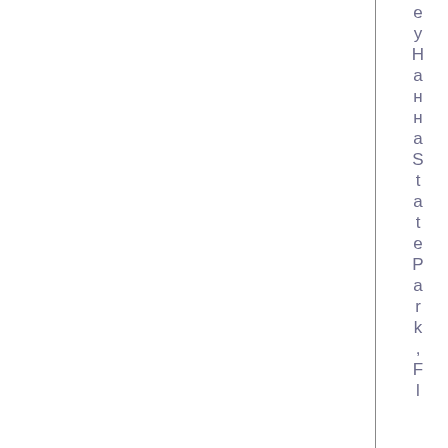е у Н а н н а S t a t e P a r k , F l